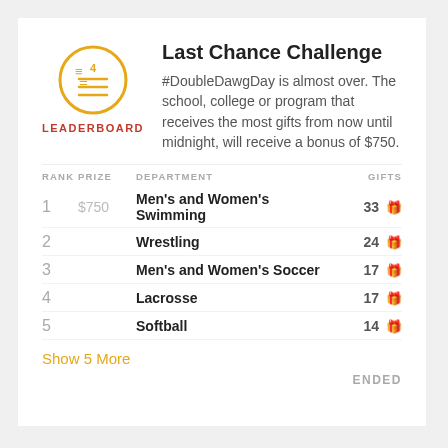Last Chance Challenge
#DoubleDawgDay is almost over. The school, college or program that receives the most gifts from now until midnight, will receive a bonus of $750.
| RANK | PRIZE | DEPARTMENT | GIFTS |
| --- | --- | --- | --- |
| 1 | $750 | Men's and Women's Swimming | 33 |
| 2 |  | Wrestling | 24 |
| 3 |  | Men's and Women's Soccer | 17 |
| 4 |  | Lacrosse | 17 |
| 5 |  | Softball | 14 |
Show 5 More
ENDED